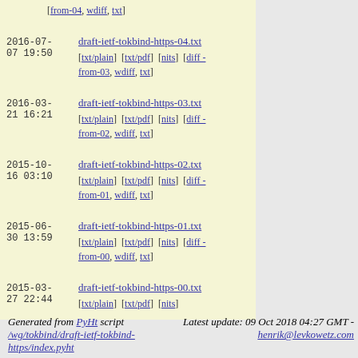2016-07-07 19:50 draft-ietf-tokbind-https-04.txt [txt/plain] [txt/pdf] [nits] [diff -from-03, wdiff, txt]
2016-03-21 16:21 draft-ietf-tokbind-https-03.txt [txt/plain] [txt/pdf] [nits] [diff -from-02, wdiff, txt]
2015-10-16 03:10 draft-ietf-tokbind-https-02.txt [txt/plain] [txt/pdf] [nits] [diff -from-01, wdiff, txt]
2015-06-30 13:59 draft-ietf-tokbind-https-01.txt [txt/plain] [txt/pdf] [nits] [diff -from-00, wdiff, txt]
2015-03-27 22:44 draft-ietf-tokbind-https-00.txt [txt/plain] [txt/pdf] [nits]
Generated from PyHt script /wg/tokbind/draft-ietf-tokbind-https/index.pyht
Latest update: 09 Oct 2018 04:27 GMT - henrik@levkowetz.com